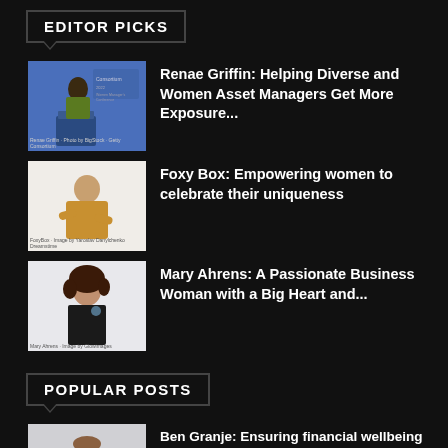EDITOR PICKS
[Figure (photo): Woman speaking at a Consortium conference podium, blue background with conference branding]
Renae Griffin: Helping Diverse and Women Asset Managers Get More Exposure...
[Figure (photo): Woman in gold/yellow jacket posing on white background]
Foxy Box: Empowering women to celebrate their uniqueness
[Figure (photo): Woman with brown curly hair wearing black top, white background]
Mary Ahrens: A Passionate Business Woman with a Big Heart and...
POPULAR POSTS
[Figure (photo): Person in professional setting, partial view]
Ben Granje: Ensuring financial wellbeing with The Flemish Federation of Individual